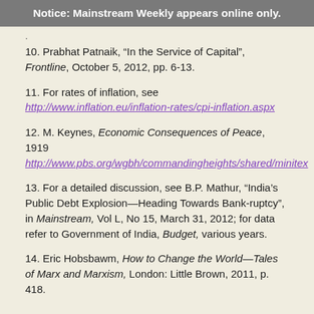Notice: Mainstream Weekly appears online only.
.
10. Prabhat Patnaik, “In the Service of Capital”, Frontline, October 5, 2012, pp. 6-13.
11. For rates of inflation, see http://www.inflation.eu/inflation-rates/cpi-inflation.aspx
12. M. Keynes, Economic Consequences of Peace, 1919 http://www.pbs.org/wgbh/commandingheights/shared/minitex
13. For a detailed discussion, see B.P. Mathur, “India’s Public Debt Explosion—Heading Towards Bank-ruptcy”, in Mainstream, Vol L, No 15, March 31, 2012; for data refer to Government of India, Budget, various years.
14. Eric Hobsbawm, How to Change the World—Tales of Marx and Marxism, London: Little Brown, 2011, p. 418.